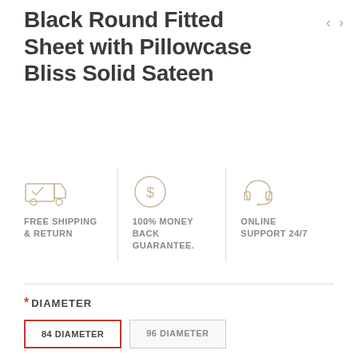Black Round Fitted Sheet with Pillowcase Bliss Solid Sateen
[Figure (infographic): Three feature icons in a row: (1) truck/delivery icon for FREE SHIPPING & RETURN, (2) dollar-sign circle icon for 100% MONEY BACK GUARANTEE., (3) headset icon for ONLINE SUPPORT 24/7]
FREE SHIPPING & RETURN
100% MONEY BACK GUARANTEE.
ONLINE SUPPORT 24/7
*DIAMETER
84 DIAMETER
96 DIAMETER